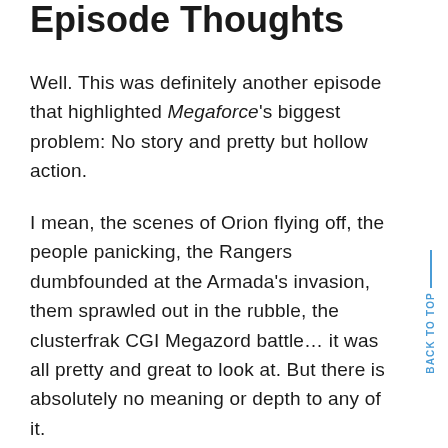Episode Thoughts
Well. This was definitely another episode that highlighted Megaforce's biggest problem: No story and pretty but hollow action.
I mean, the scenes of Orion flying off, the people panicking, the Rangers dumbfounded at the Armada's invasion, them sprawled out in the rubble, the clusterfrak CGI Megazord battle… it was all pretty and great to look at. But there is absolutely no meaning or depth to any of it.
You could've put this episode at the start of Megaforce and it would have the same effect. Meaning, the 37 episodes before this have no bearing on understanding what's happening here